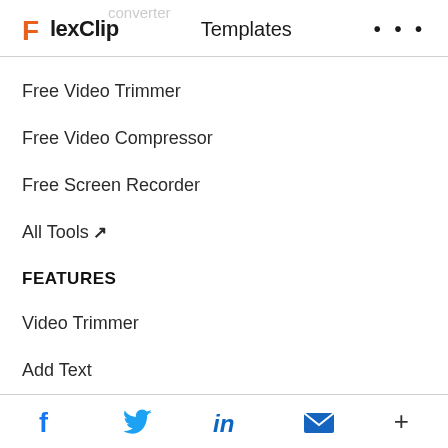FlexClip  Templates  ...
Free Video Trimmer
Free Video Compressor
Free Screen Recorder
All Tools ↗
FEATURES
Video Trimmer
Add Text
Add Music
Facebook Twitter LinkedIn Email +